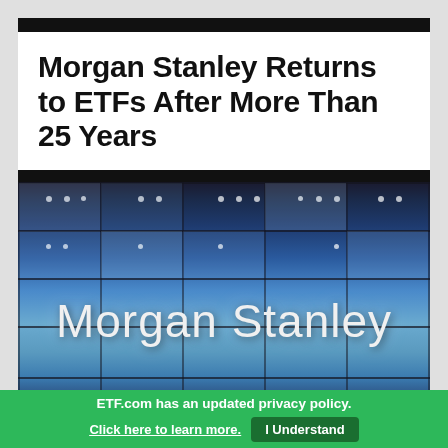Morgan Stanley Returns to ETFs After More Than 25 Years
[Figure (photo): Exterior photo of a Morgan Stanley building with blue glass facade panels and large white 'Morgan Stanley' signage]
ETF.com has an updated privacy policy.
Click here to learn more.  I Understand